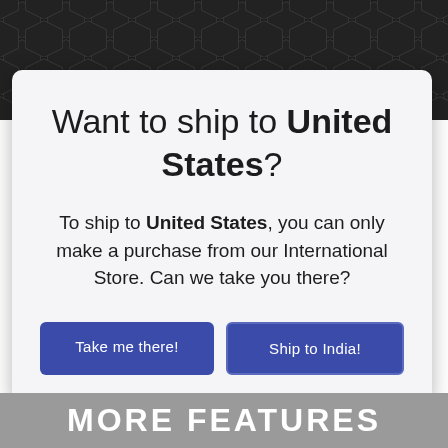[Figure (other): Dark hexagonal pattern background at the top of the page]
Want to ship to United States?
To ship to United States, you can only make a purchase from our International Store. Can we take you there?
Take me there!
Ship to India!
MORE FEATURES